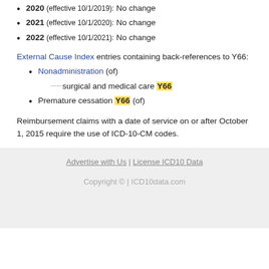2020 (effective 10/1/2019): No change
2021 (effective 10/1/2020): No change
2022 (effective 10/1/2021): No change
External Cause Index entries containing back-references to Y66:
Nonadministration (of) surgical and medical care Y66
Premature cessation Y66 (of)
Reimbursement claims with a date of service on or after October 1, 2015 require the use of ICD-10-CM codes.
Advertise with Us | License ICD10 Data
Copyright © | ICD10data.com